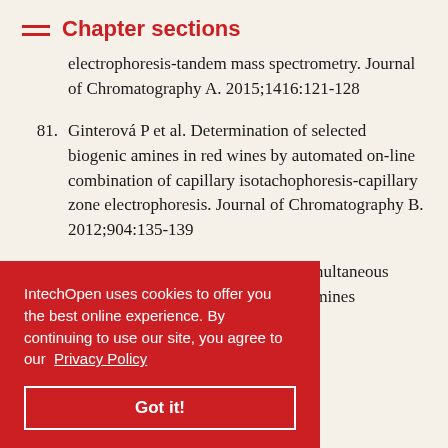Chapter sections
electrophoresis-tandem mass spectrometry. Journal of Chromatography A. 2015;1416:121-128
81. Ginterová P et al. Determination of selected biogenic amines in red wines by automated on-line combination of capillary isotachophoresis-capillary zone electrophoresis. Journal of Chromatography B. 2012;904:135-139
82. Jastrzębska A, Piasta A, Szłyk E. Simultaneous determination of selected biogenic amines in ...achophoretic ...od Additives ):83-92
...for the ...nic amines and their amino acid precursors separated by
IntechOpen uses cookies to offer you the best online experience. By continuing to use our site, you agree to our Privacy Policy
Got it!